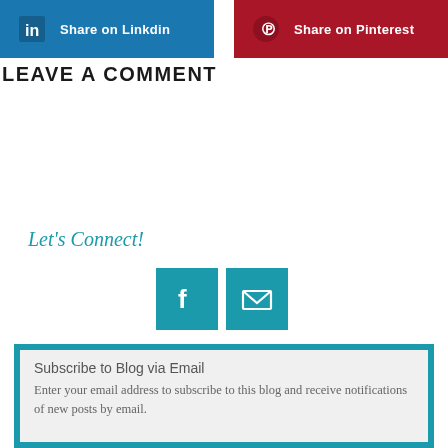[Figure (infographic): Share on Linkdin button (blue) and Share on Pinterest button (dark red) side by side]
LEAVE A COMMENT
Let's Connect!
[Figure (infographic): Facebook icon button (teal) and email/envelope icon button (teal) side by side]
Subscribe to Blog via Email
Enter your email address to subscribe to this blog and receive notifications of new posts by email.